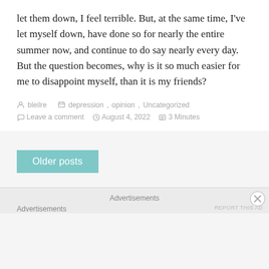let them down, I feel terrible. But, at the same time, I've let myself down, have done so for nearly the entire summer now, and continue to do say nearly every day. But the question becomes, why is it so much easier for me to disappoint myself, than it is my friends?
bleilre  depression, opinion, Uncategorized  Leave a comment  August 4, 2022  3 Minutes
Older posts
Advertisements
Advertisements